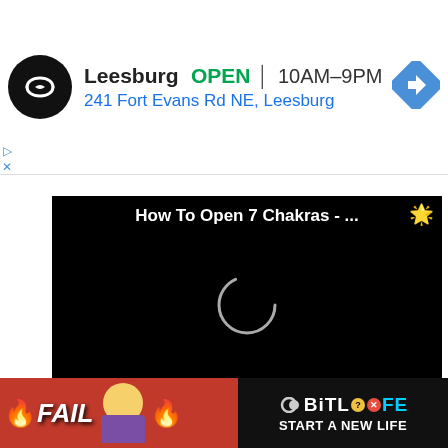[Figure (screenshot): Google ad banner showing a store location: Leesburg, OPEN, 10AM-9PM, 241 Fort Evans Rd NE, Leesburg, with a navigation arrow icon and a circular logo]
[Figure (screenshot): Black video player loading screen with title 'How To Open 7 Chakras - ...' and a spinning circle loader, with a sun/pineapple emoji in upper right]
And another thing... they need to stop being so negative where [obscured] ons on the fi[rst] [obscured] e they
[Figure (screenshot): BitLife advertisement banner with FAIL text, cartoon girl, fire emojis, BitLife logo, and 'START A NEW LIFE' text]